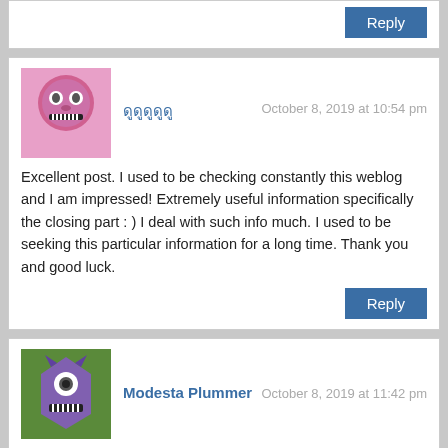Reply
[Figure (illustration): Pink/purple cartoon troll face avatar]
ดูดูดูดูดู
October 8, 2019 at 10:54 pm
Excellent post. I used to be checking constantly this weblog and I am impressed! Extremely useful information specifically the closing part : ) I deal with such info much. I used to be seeking this particular information for a long time. Thank you and good luck.
Reply
[Figure (illustration): Purple/green cartoon monster avatar]
Modesta Plummer
October 8, 2019 at 11:42 pm
Hello everybody, here every person is sharing these kinds of familiarity, thus it's good to read this website, and I used to visit this webpage all the time.
Reply
[Figure (illustration): Partial avatar visible at bottom]
October 9, 2019 at 2:09 am